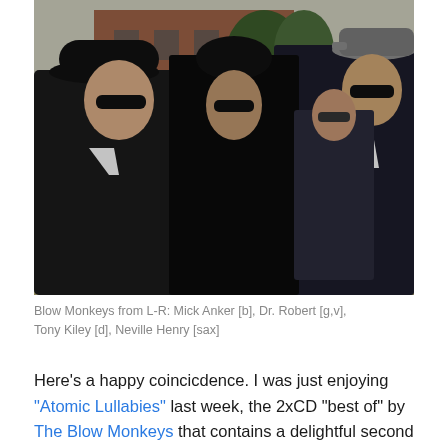[Figure (photo): Four members of The Blow Monkeys standing outdoors. Left figure wears a black bowler hat and sunglasses with a white shirt and dark jacket. Center figure has dark hair, sunglasses, all black outfit. Background right figure wears sunglasses and a suit. Far right figure wears a grey flat cap, sunglasses, white shirt and dark jacket with a red pocket square.]
Blow Monkeys from L-R: Mick Anker [b], Dr. Robert [g,v], Tony Kiley [d], Neville Henry [sax]
Here's a happy coincicdence. I was just enjoying "Atomic Lullabies" last week, the 2xCD "best of" by The Blow Monkeys that contains a delightful second disc of B-sides.